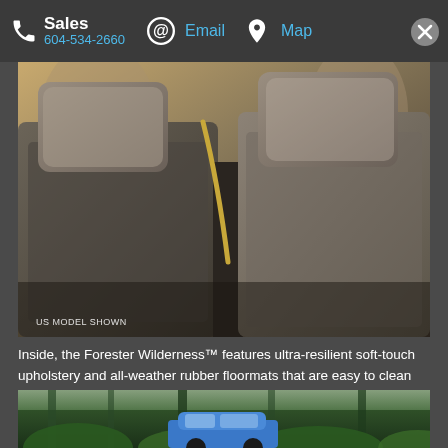Sales 604-534-2660  @Email  Map
[Figure (photo): Interior photo of Subaru Forester Wilderness seat headrests and upholstery, with caption 'US MODEL SHOWN']
Inside, the Forester Wilderness™ features ultra-resilient soft-touch upholstery and all-weather rubber floormats that are easy to clean and designed to withstand their fair share of punishment. Other exclusive features include a unique gauge cluster, 8-inch infotainment display, alloy pedals, anodized yellow accent trim and stitching, and Wilderness™ logo embossed on the front seats.
[Figure (photo): Exterior photo of blue Subaru Forester Wilderness driving through a lush green forest with ferns]